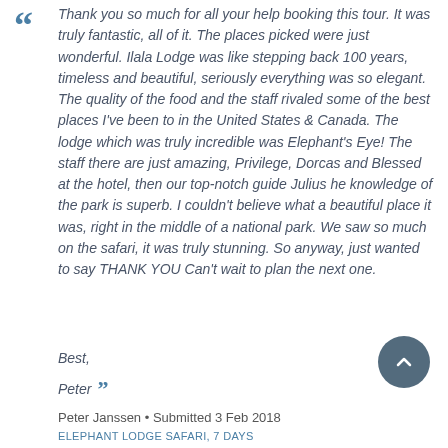Thank you so much for all your help booking this tour. It was truly fantastic, all of it. The places picked were just wonderful. Ilala Lodge was like stepping back 100 years, timeless and beautiful, seriously everything was so elegant. The quality of the food and the staff rivaled some of the best places I've been to in the United States & Canada. The lodge which was truly incredible was Elephant's Eye! The staff there are just amazing, Privilege, Dorcas and Blessed at the hotel, then our top-notch guide Julius he knowledge of the park is superb. I couldn't believe what a beautiful place it was, right in the middle of a national park. We saw so much on the safari, it was truly stunning. So anyway, just wanted to say THANK YOU Can't wait to plan the next one.

Best,

Peter
Peter Janssen • Submitted 3 Feb 2018
ELEPHANT LODGE SAFARI, 7 DAYS